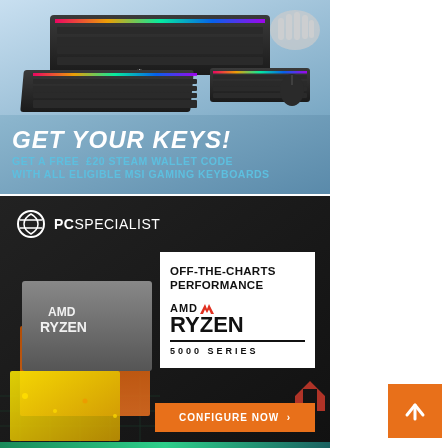[Figure (illustration): MSI advertisement banner showing gaming keyboards with RGB lighting and a robot hand, with text 'GET YOUR KEYS! GET A FREE £20 STEAM WALLET CODE WITH ALL ELIGIBLE MSI GAMING KEYBOARDS']
[Figure (illustration): PC Specialist advertisement featuring AMD Ryzen 5000 Series processor imagery on a circuit board background, with white content box showing 'OFF-THE-CHARTS PERFORMANCE' and AMD RYZEN 5000 SERIES branding, and orange 'CONFIGURE NOW' button]